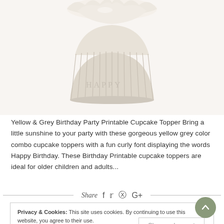[Figure (photo): Close-up of a white/cream cupcake with white frosting in a ribbed white paper liner, shot from slightly above against a white background]
Yellow & Grey Birthday Party Printable Cupcake Topper Bring a little sunshine to your party with these gorgeous yellow grey color combo cupcake toppers with a fun curly font displaying the words Happy Birthday. These Birthday Printable cupcake toppers are ideal for older children and adults...
Share
Privacy & Cookies: This site uses cookies. By continuing to use this website, you agree to their use.
To find out more, including how to control cookies, see here: Privacy Policy
Close and accept